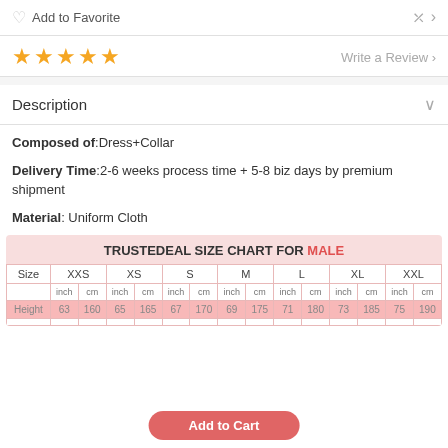Add to Favorite
★★★★★  Write a Review >
Description
Composed of:Dress+Collar
Delivery Time:2-6 weeks process time + 5-8 biz days by premium shipment
Material: Uniform Cloth
| Size | XXS |  | XS |  | S |  | M |  | L |  | XL |  | XXL |  |
| --- | --- | --- | --- | --- | --- | --- | --- | --- | --- | --- | --- | --- | --- | --- |
| Height | 63 | 160 | 65 | 165 | 67 | 170 | 69 | 175 | 71 | 180 | 73 | 185 | 75 | 190 |